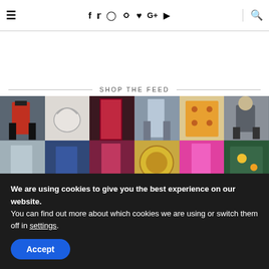≡  f  t  ○  ⊕  ♥  G+  ▶  🔍
SHOP THE FEED
[Figure (photo): Grid of fashion product photos: women in outfits, a white bag, colorful dresses, accessories. Two rows of six images each.]
We are using cookies to give you the best experience on our website.
You can find out more about which cookies we are using or switch them off in settings.
Accept